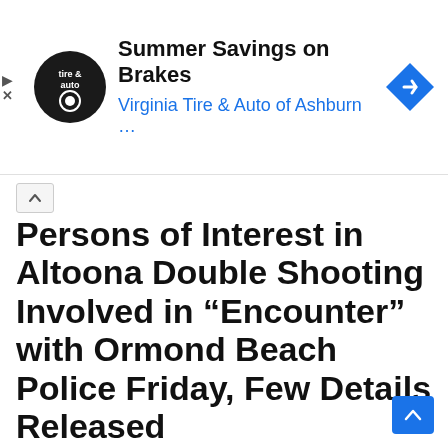[Figure (other): Advertisement banner for Virginia Tire & Auto of Ashburn featuring their logo, text 'Summer Savings on Brakes', and a blue diamond navigation arrow icon.]
Persons of Interest in Altoona Double Shooting Involved in “Encounter” with Ormond Beach Police Friday, Few Details Released
Inside Scoop, Unincorporated Lake / By Marilyn M. Aciego
ORMOND BEACH, Florida—The two persons of interest in an Altoona double homicide Thursday night were involved in an incident with Ormond Beach Police Department Friday, according to Lake County Sheriff’s Office Lt. John Herrell.